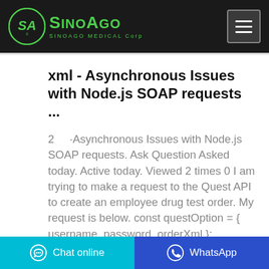SinoAgo Medical Corp
xml - Asynchronous Issues with Node.js SOAP requests ...
2 ··Asynchronous Issues with Node.js SOAP requests. Ask Question Asked today. Active today. Viewed 2 times 0 I am trying to make a request to the Quest API to create an employee drug test order. My request is below. const questOption = { username, password, orderXml }; soap.createClientAsync(baseUrl).then(
Chat online | WhatsApp